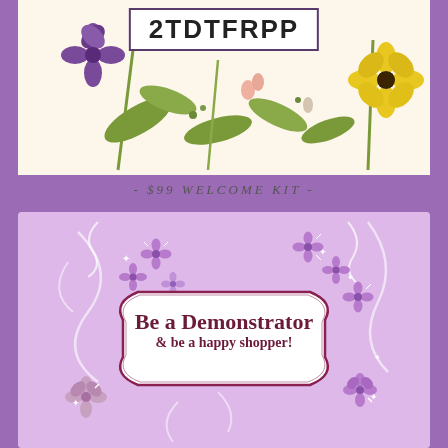[Figure (illustration): Floral banner with colorful flowers (purple, yellow, pink, green leaves) on a cream background with a code box overlay showing '2TDTFRPP']
2TDTFRPP
- $99 WELCOME KIT -
[Figure (illustration): Light purple card with swirl decorations, purple flowers scattered around, and a central oval badge reading 'Be a Demonstrator & be a happy shopper!']